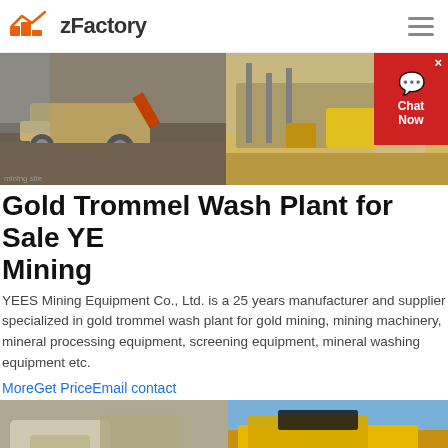zFactory
[Figure (photo): Two mining site photos side by side: left shows heavy machinery/loader at a mining operation, right shows screening/conveyor equipment at a sandy mining site]
Gold Trommel Wash Plant for Sale YEES Mining
YEES Mining Equipment Co., Ltd. is a 25 years manufacturer and supplier specialized in gold trommel wash plant for gold mining, mining machinery, mineral processing equipment, screening equipment, mineral washing equipment etc.
MoreGet PriceEmail contact
[Figure (photo): Two mining equipment photos side by side: left shows a crawler-mounted crushing plant on a job site, right shows a large yellow mobile crushing/screening unit on a flatbed truck]
Alluvial gold ore processing plant, gold wash ...